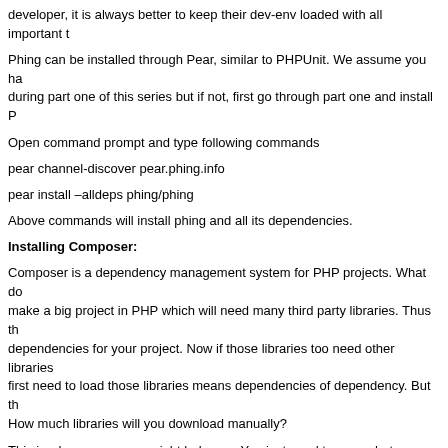developer, it is always better to keep their dev-env loaded with all important t
Phing can be installed through Pear, similar to PHPUnit. We assume you have during part one of this series but if not, first go through part one and install P
Open command prompt and type following commands
pear channel-discover pear.phing.info
pear install –alldeps phing/phing
Above commands will install phing and all its dependencies.
Installing Composer:
Composer is a dependency management system for PHP projects. What do make a big project in PHP which will need many third party libraries. Thus th dependencies for your project. Now if those libraries too need other libraries first need to load those libraries means dependencies of dependency. But th How much libraries will you download manually?
This is where composer might help you. You just need to care what libraries not for dependency's dependency.  You will tell composer what libraries do y composer will download the libraries you need as well as their dependencies
Installing composer depends on operating system. For windows, there is a n downloaded from http://getcomposer.org/Composer-Setup.exe